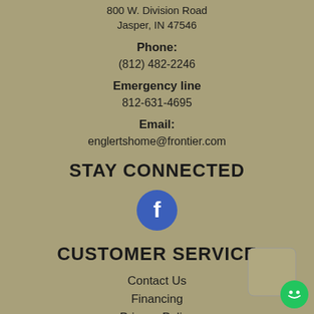800 W. Division Road
Jasper, IN 47546
Phone:
(812) 482-2246
Emergency line
812-631-4695
Email:
englertshome@frontier.com
STAY CONNECTED
[Figure (logo): Facebook icon — blue circle with white 'f' letter]
CUSTOMER SERVICE
Contact Us
Financing
Privacy Policy
Terms of Service
Accessibility
Site Map
[Figure (other): Chat widget button in bottom right corner — green circle with smiley face]